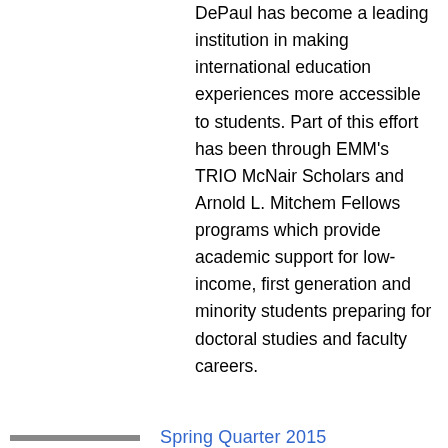DePaul has become a leading institution in making international education experiences more accessible to students. Part of this effort has been through EMM's TRIO McNair Scholars and Arnold L. Mitchem Fellows programs which provide academic support for low-income, first generation and minority students preparing for doctoral studies and faculty careers.
Spring Quarter 2015